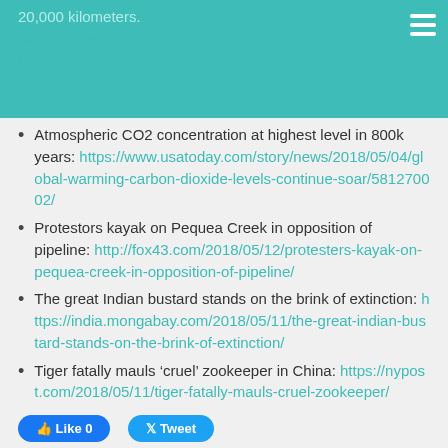20,000 kilometers. https://news.mongabay.com/2018/05/longest-recorded-whale-shark-migration-eclipses-20000-kilometers/
Atmospheric CO2 concentration at highest level in 800k years: https://www.usatoday.com/story/news/2018/05/04/global-warming-carbon-dioxide-levels-continue-soar/581270002/
Protestors kayak on Pequea Creek in opposition of pipeline: http://fox43.com/2018/05/12/protesters-kayak-on-pequea-creek-in-opposition-of-pipeline/
The great Indian bustard stands on the brink of extinction: https://india.mongabay.com/2018/05/11/the-great-indian-bustard-stands-on-the-brink-of-extinction/
Tiger fatally mauls ‘cruel’ zookeeper in China: https://nypost.com/2018/05/11/tiger-fatally-mauls-cruel-zookeeper/